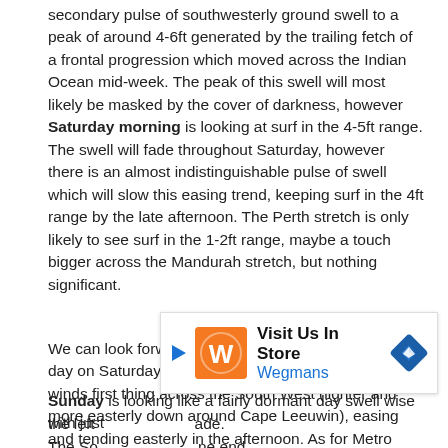secondary pulse of southwesterly ground swell to a peak of around 4-6ft generated by the trailing fetch of a frontal progression which moved across the Indian Ocean mid-week. The peak of this swell will most likely be masked by the cover of darkness, however Saturday morning is looking at surf in the 4-5ft range. The swell will fade throughout Saturday, however there is an almost indistinguishable pulse of swell which will slow this easing trend, keeping surf in the 4ft range by the late afternoon. The Perth stretch is only likely to see surf in the 1-2ft range, maybe a touch bigger across the Mandurah stretch, but nothing significant.
We can look forward to generally favourable winds all day on Saturday with light/moderate southeasterly winds first thing across the South West (lighter and more easterly down around Cape Leeuwin), easing and tending easterly in the afternoon. As for Metro Beaches, winds will be light/moderate northeasterly in the morning, tending light/calm easterly in the afternoon.
Sunday is looking like a fairly dormant day swell wise with just the left... ade. The So... ne end
[Figure (other): Advertisement overlay for Wegmans 'Visit Us In Store' with orange logo, play button, and navigation/map icon]